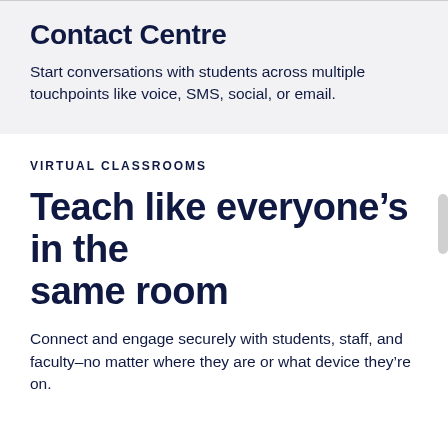Contact Centre
Start conversations with students across multiple touchpoints like voice, SMS, social, or email.
VIRTUAL CLASSROOMS
Teach like everyone’s in the same room
Connect and engage securely with students, staff, and faculty–no matter where they are or what device they’re on.